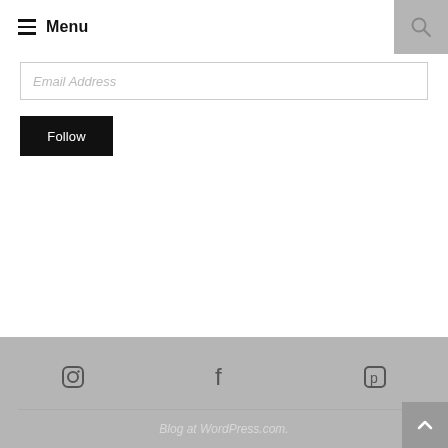Menu
Email Address
Follow
Blog at WordPress.com.